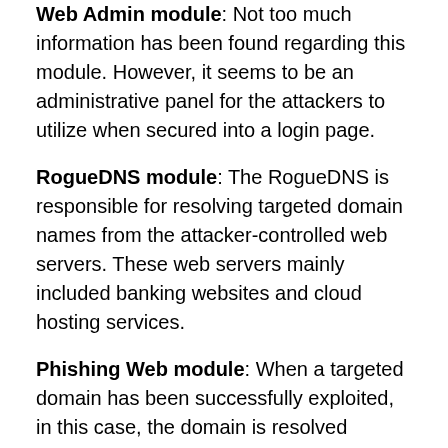Web Admin module: Not too much information has been found regarding this module. However, it seems to be an administrative panel for the attackers to utilize when secured into a login page.
RogueDNS module: The RogueDNS is responsible for resolving targeted domain names from the attacker-controlled web servers. These web servers mainly included banking websites and cloud hosting services.
Phishing Web module: When a targeted domain has been successfully exploited, in this case, the domain is resolved through RogueDNS, the Phishing Web module points the server to the fake version of whatever website the user tries to visit, where the attacker can then steal credentials.
The GhostDNS campaign is organized and highly scaled,